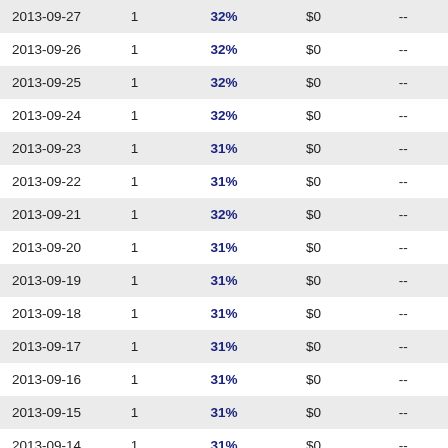| Date | Col2 | Pct | Amount | Change |
| --- | --- | --- | --- | --- |
| 2013-09-27 | 1 | 32% | $0 | -- |
| 2013-09-26 | 1 | 32% | $0 | -- |
| 2013-09-25 | 1 | 32% | $0 | -- |
| 2013-09-24 | 1 | 32% | $0 | -- |
| 2013-09-23 | 1 | 31% | $0 | -- |
| 2013-09-22 | 1 | 31% | $0 | -- |
| 2013-09-21 | 1 | 32% | $0 | -- |
| 2013-09-20 | 1 | 31% | $0 | -- |
| 2013-09-19 | 1 | 31% | $0 | -- |
| 2013-09-18 | 1 | 31% | $0 | -- |
| 2013-09-17 | 1 | 31% | $0 | -- |
| 2013-09-16 | 1 | 31% | $0 | -- |
| 2013-09-15 | 1 | 31% | $0 | -- |
| 2013-09-14 | 1 | 31% | $0 | -- |
| 2013-09-13 | 1 | 31% | $0 | -- |
| 2013-09-12 | 1 | 31% | $0 | -- |